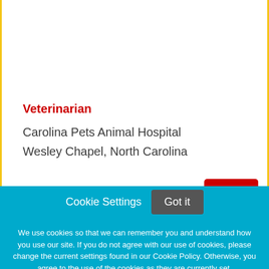Veterinarian
Carolina Pets Animal Hospital
Wesley Chapel, North Carolina
Cookie Settings  Got it
We use cookies so that we can remember you and understand how you use our site. If you do not agree with our use of cookies, please change the current settings found in our Cookie Policy. Otherwise, you agree to the use of the cookies as they are currently set.